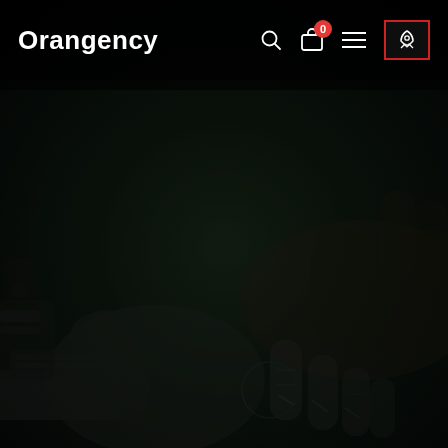[Figure (screenshot): Dark background image showing a robotic hand shaking a human hand, representing AI-human collaboration, used as a hero background for the Orangency website.]
Orangency — navigation bar with logo, search icon, cart icon with badge 0, hamburger menu icon, and rocket icon button highlighted with red border